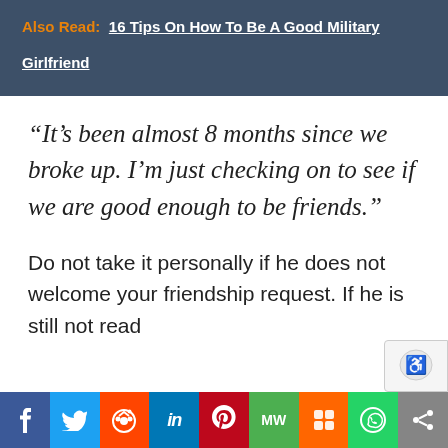Also Read: 16 Tips On How To Be A Good Military Girlfriend
“It’s been almost 8 months since we broke up. I’m just checking on to see if we are good enough to be friends.”
Do not take it personally if he does not welcome your friendship request. If he is still not read